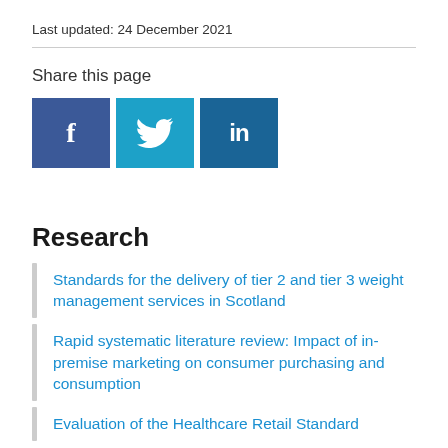Last updated: 24 December 2021
Share this page
[Figure (other): Social media share buttons: Facebook (blue), Twitter (light blue), LinkedIn (dark blue)]
Research
Standards for the delivery of tier 2 and tier 3 weight management services in Scotland
Rapid systematic literature review: Impact of in-premise marketing on consumer purchasing and consumption
Evaluation of the Healthcare Retail Standard